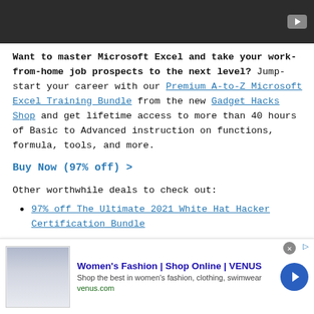[Figure (screenshot): Dark video player bar at top with a YouTube-style play button icon on the right]
Want to master Microsoft Excel and take your work-from-home job prospects to the next level? Jump-start your career with our Premium A-to-Z Microsoft Excel Training Bundle from the new Gadget Hacks Shop and get lifetime access to more than 40 hours of Basic to Advanced instruction on functions, formula, tools, and more.
Buy Now (97% off) >
Other worthwhile deals to check out:
97% off The Ultimate 2021 White Hat Hacker Certification Bundle
[Figure (screenshot): Advertisement banner at bottom: Women's Fashion | Shop Online | VENUS - Shop the best in women's fashion, clothing, swimwear - venus.com]